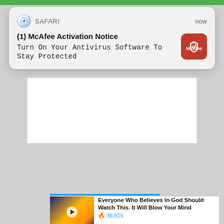[Figure (screenshot): Green progress bar at top of browser page]
[Figure (screenshot): Safari browser push notification popup: '(1) McAfee Activation Notice - Turn On Your Antivirus Software To Stay Protected' with McAfee red icon, timestamp 'now']
[Figure (screenshot): White input/form area below notification popup]
VOTE NOW
Promoted X
Everyone Who Believes In God Should Watch This. It Will Blow Your Mind
38,615
Biden Probably Wants This Video Destroyed — Drastic Changes Happening To The US Dollar?
43,811